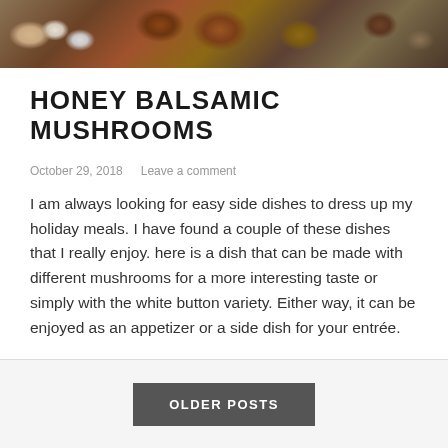[Figure (photo): Food photo banner showing mushrooms and cooked dishes in a dark pan, top of page]
HONEY BALSAMIC MUSHROOMS
October 29, 2018   Leave a comment
I am always looking for easy side dishes to dress up my holiday meals. I have found a couple of these dishes that I really enjoy. here is a dish that can be made with different mushrooms for a more interesting taste or simply with the white button variety. Either way, it can be enjoyed as an appetizer or a side dish for your entrée.
OLDER POSTS